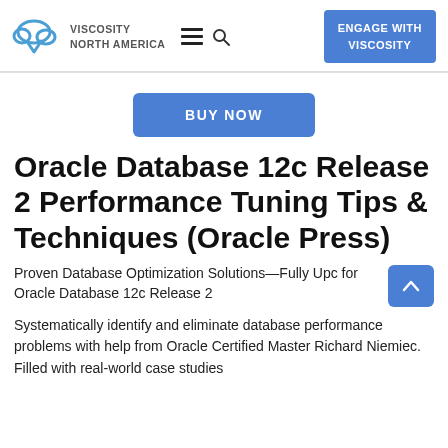[Figure (logo): Viscosity North America logo with cloud and V icon, navigation hamburger menu and search icon, and blue Engage With Viscosity button]
[Figure (other): Blue BUY NOW button]
Oracle Database 12c Release 2 Performance Tuning Tips & Techniques (Oracle Press)
Proven Database Optimization Solutions—Fully Updated for Oracle Database 12c Release 2
Systematically identify and eliminate database performance problems with help from Oracle Certified Master Richard Niemiec. Filled with real-world case studies